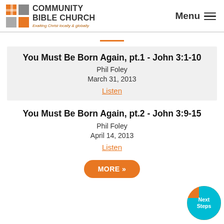[Figure (logo): Community Bible Church logo with orange and gray grid icon, bold text 'COMMUNITY BIBLE CHURCH', tagline 'Exalting Christ locally & globally']
Menu ≡
You Must Be Born Again, pt.1 - John 3:1-10
Phil Foley
March 31, 2013
Listen
You Must Be Born Again, pt.2 - John 3:9-15
Phil Foley
April 14, 2013
Listen
MORE »
[Figure (illustration): Next Steps circular button in cyan/orange]